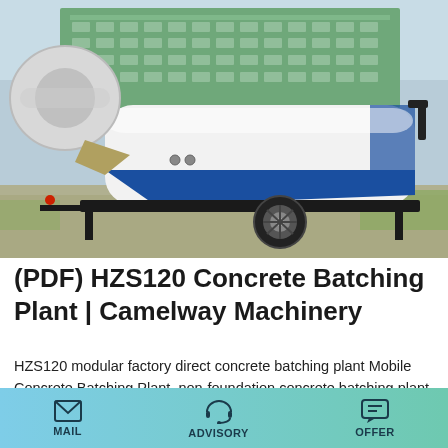[Figure (photo): A white and blue trailer-mounted concrete batching plant / mobile concrete pump unit parked on a gravel area with a multi-story green building in the background.]
(PDF) HZS120 Concrete Batching Plant | Camelway Machinery
HZS120 modular factory direct concrete batching plant Mobile Concrete Batching Plant, non-foundation concrete batching plant, Stabilized Soil Mixing Plant, dry mortar mixing plant, sandstone separator, mud recycle machine, mixer truck.
MAIL   ADVISORY   OFFER